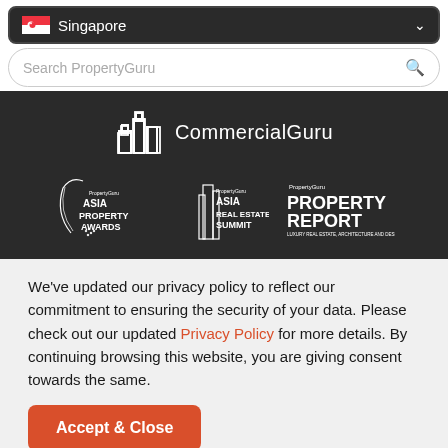[Figure (screenshot): Singapore country selector dropdown with flag]
[Figure (screenshot): Search PropertyGuru search bar with magnifying glass icon]
[Figure (logo): CommercialGuru logo with building icon]
[Figure (logo): Three sub-brand logos: PropertyGuru Asia Property Awards, PropertyGuru Asia Real Estate Summit, PropertyGuru Property Report]
We've updated our privacy policy to reflect our commitment to ensuring the security of your data. Please check out our updated Privacy Policy for more details. By continuing browsing this website, you are giving consent towards the same.
Accept & Close